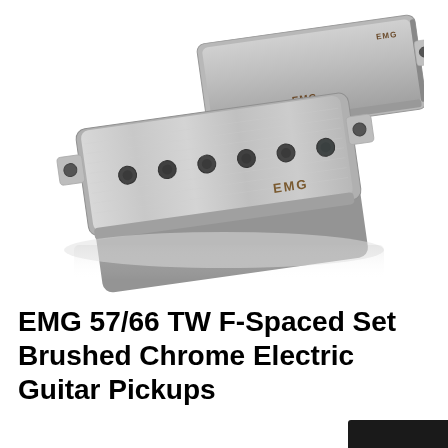[Figure (photo): Two EMG guitar humbucking pickups in brushed chrome/nickel finish, stacked at an angle on white background. The pickups show the EMG logo engraved on the top face, with 6 pole pieces visible on the front pickup. A faint reflection is visible below the pickups.]
EMG 57/66 TW F-Spaced Set Brushed Chrome Electric Guitar Pickups